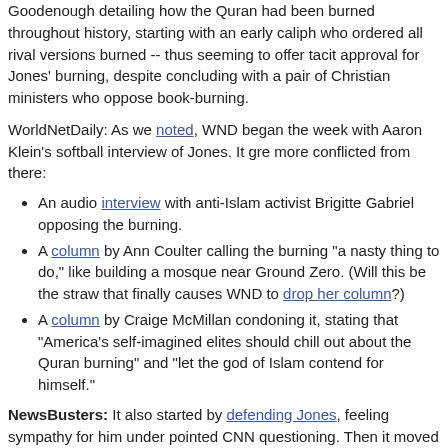Goodenough detailing how the Quran had been burned throughout history, starting with an early caliph who ordered all rival versions burned -- thus seeming to offer tacit approval for Jones' burning, despite concluding with a pair of Christian ministers who oppose book-burning.
WorldNetDaily: As we noted, WND began the week with Aaron Klein's softball interview of Jones. It gre more conflicted from there:
An audio interview with anti-Islam activist Brigitte Gabriel opposing the burning.
A column by Ann Coulter calling the burning "a nasty thing to do," like building a mosque near Ground Zero. (Will this be the straw that finally causes WND to drop her column?)
A column by Craige McMillan condoning it, stating that "America's self-imagined elites should chill out about the Quran burning" and "let the god of Islam contend for himself."
NewsBusters: It also started by defending Jones, feeling sympathy for him under pointed CNN questioning. Then it moved toward being more consistently critical, mostly that it was being likened to the upcoming Glenn Beck-Sarah Palin shindig in Alaska and to "Ground Zero mosque" opponents. Brent Baker dismissed Jones as a "widely condemned Florida pastor with barely a few dozen followers." Then, Noel Sheppard blundered in to ask, "did the media negligently create